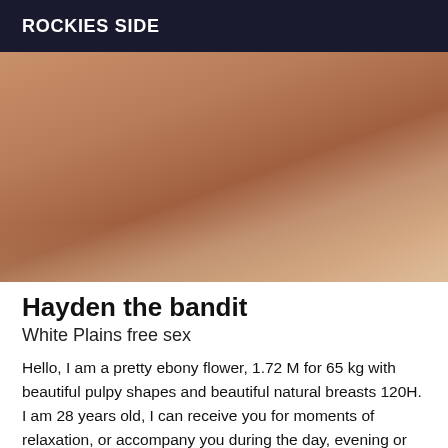ROCKIES SIDE
[Figure (photo): Close-up photo of a person's torso/body]
Hayden the bandit
White Plains free sex
Hello, I am a pretty ebony flower, 1.72 M for 65 kg with beautiful pulpy shapes and beautiful natural breasts 120H. I am 28 years old, I can receive you for moments of relaxation, or accompany you during the day, evening or more on request (business dinners, cocktails, trips) expenses: travel, cabs, tickets, hotels are at your expenses. I am naturel, spontaneous and friendly. I travel